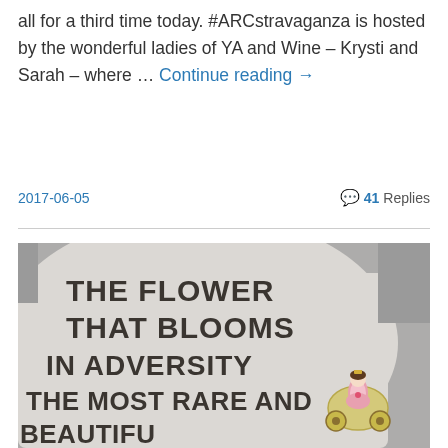all for a third time today. #ARCstravaganza is hosted by the wonderful ladies of YA and Wine – Krysti and Sarah – where … Continue reading →
2017-06-05    💬 41 Replies
[Figure (photo): Photo of a white t-shirt with bold dark text reading 'THE FLOWER THAT BLOOMS IN ADVERSITY THE MOST RARE AND BEAUTIFUL' with a small princess figurine in a carriage on the right side]